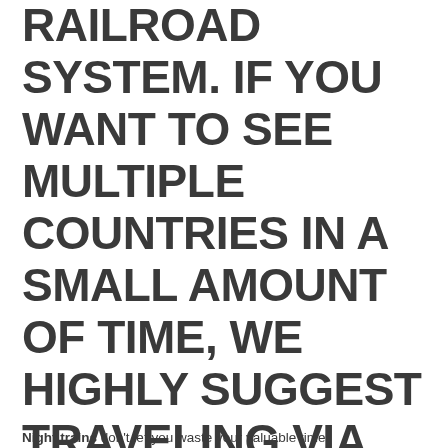RAILROAD SYSTEM. IF YOU WANT TO SEE MULTIPLE COUNTRIES IN A SMALL AMOUNT OF TIME, WE HIGHLY SUGGEST TRAVELING VIA NIGHT TRAINS.
Night trains don't let you waste your valuable time